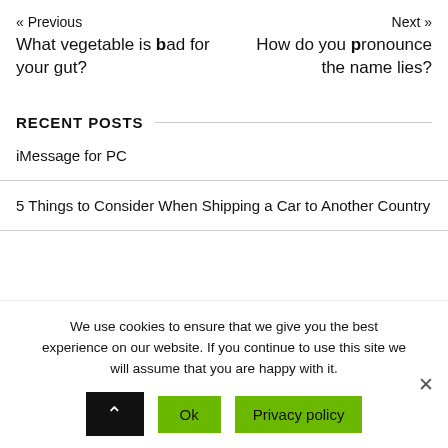« Previous
Next »
What vegetable is bad for your gut?
How do you pronounce the name lies?
RECENT POSTS
iMessage for PC
5 Things to Consider When Shipping a Car to Another Country
We use cookies to ensure that we give you the best experience on our website. If you continue to use this site we will assume that you are happy with it.
Ok
Privacy policy